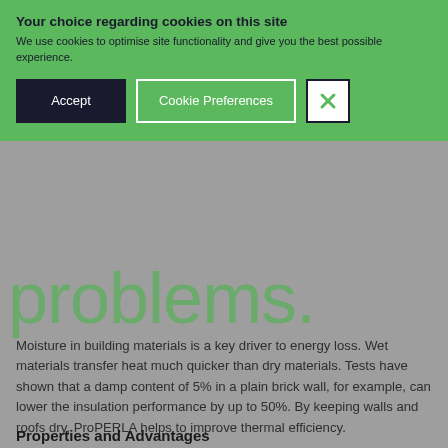[Figure (screenshot): Cookie consent banner overlay with green background, showing title 'Your choice regarding cookies on this site', descriptive text, Accept button (dark navy), Cookie Preferences button (outlined), and close X button]
problems.
Moisture in building materials is a key driver to energy loss. Wet materials transfer heat much quicker than dry materials. Tests have shown that a damp content of 5% in a plain brick wall, for example, can lower the insulation performance by up to 50%. By keeping walls and roofs dry, ProPERLA helps to improve thermal efficiency.
Properties and Advantages